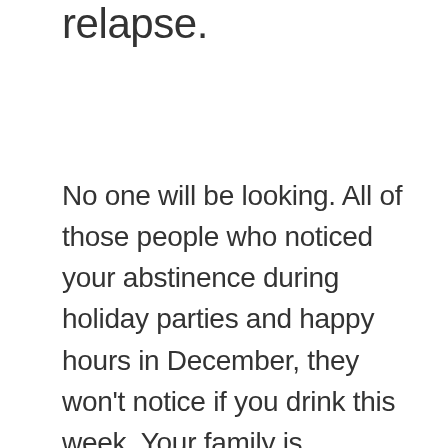relapse.
No one will be looking. All of those people who noticed your abstinence during holiday parties and happy hours in December, they won't notice if you drink this week. Your family is returning to the normal activities of midwinter without giving your sobriety a second thought. All the tough conversations and awkward moments you prepared yourself for are already a distant memory. You made it. You passed the test. The pressure to resist, along with the inseparable accountability are both long gone. If you drink now, it will be off the radar